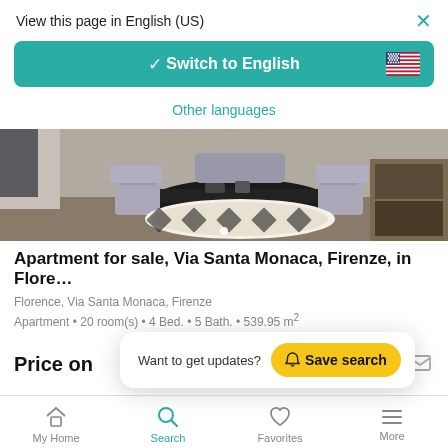View this page in English (US)
Switch to English
Other languages
[Figure (photo): Interior room photo showing a dining area with chairs and a patterned rug]
Apartment for sale, Via Santa Monaca, Firenze, in Flore…
Florence, Via Santa Monaca, Firenze
Apartment • 20 room(s) • 4 Bed. • 5 Bath. • 539.95 m²
Price on
Want to get updates? Save search
My Home  Search  Favorites  More